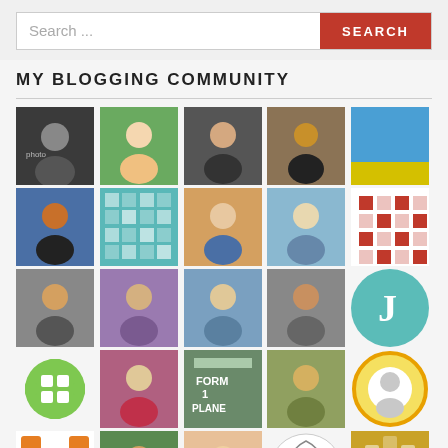[Figure (screenshot): Search bar with text 'Search ...' and red SEARCH button]
MY BLOGGING COMMUNITY
[Figure (infographic): Grid of profile avatar photos and icons representing members of a blogging community, arranged in 5 columns and multiple rows]